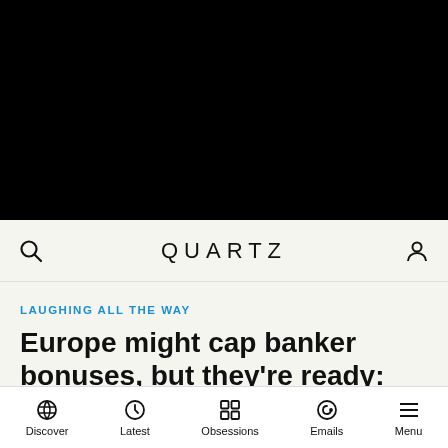[Figure (photo): Large black image area at top of page (video/image placeholder)]
QUARTZ
LAUGHING ALL THE WAY
Europe might cap banker bonuses, but they're ready: Some ways
Discover  Latest  Obsessions  Emails  Menu